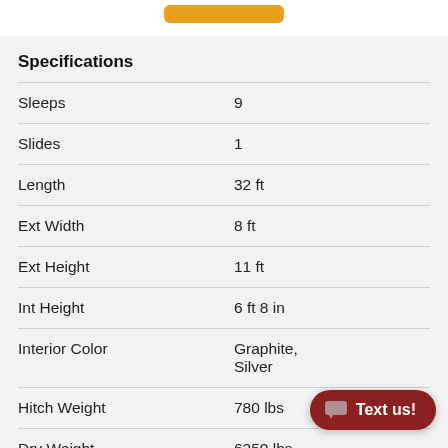| Specification | Value |
| --- | --- |
| Sleeps | 9 |
| Slides | 1 |
| Length | 32 ft |
| Ext Width | 8 ft |
| Ext Height | 11 ft |
| Int Height | 6 ft 8 in |
| Interior Color | Graphite, Silver |
| Hitch Weight | 780 lbs |
| Dry Weight | 6250 lbs |
| Cargo Weight | 33... |
| Fresh Water Capacity | 51 gals |